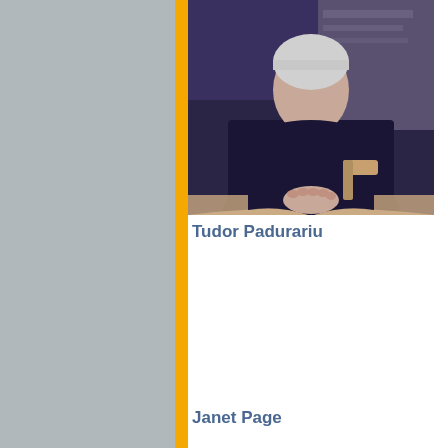[Figure (photo): Photo of Tudor Padurariu, a person seated at a table wearing a dark navy sweater with hands clasped, photographed from roughly chest-height up]
Tudor Padurariu
Janet Page